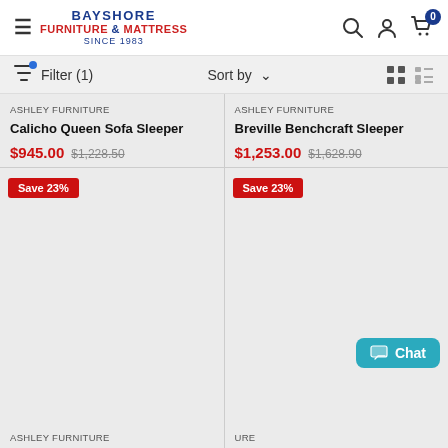Bayshore Furniture & Mattress Since 1983
Filter (1)  Sort by  [grid view] [list view]
ASHLEY FURNITURE
Calicho Queen Sofa Sleeper
$945.00  $1,228.50
Save 23%
ASHLEY FURNITURE
Breville Benchcraft Sleeper
$1,253.00  $1,628.90
Save 23%
ASHLEY FURNITURE
ASHLEY FURNITURE
Chat